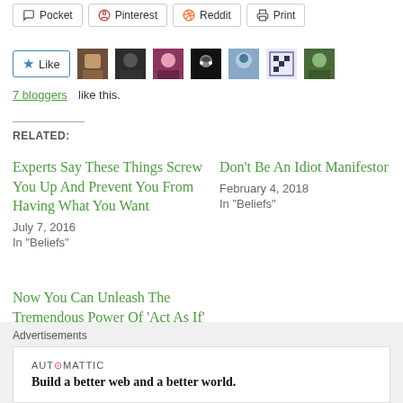Pocket
Pinterest
Reddit
Print
[Figure (other): Like button with star icon and 7 avatars of bloggers who liked the post]
7 bloggers like this.
RELATED:
Experts Say These Things Screw You Up And Prevent You From Having What You Want
July 7, 2016
In "Beliefs"
Don't Be An Idiot Manifestor
February 4, 2018
In "Beliefs"
Now You Can Unleash The Tremendous Power Of 'Act As If' To Make Your Dreams A
Advertisements
[Figure (logo): Automattic logo and tagline: Build a better web and a better world.]